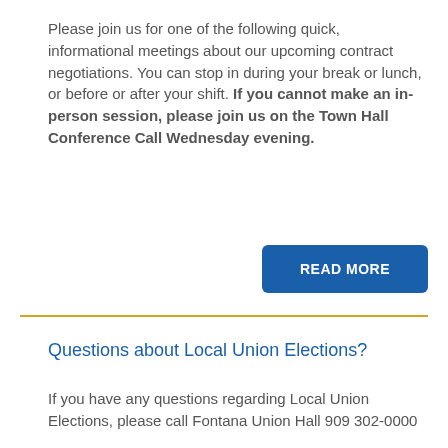Please join us for one of the following quick, informational meetings about our upcoming contract negotiations. You can stop in during your break or lunch, or before or after your shift. If you cannot make an in-person session, please join us on the Town Hall Conference Call Wednesday evening.
[Figure (other): Blue button labeled READ MORE]
Questions about Local Union Elections?
If you have any questions regarding Local Union Elections, please call Fontana Union Hall 909 302-0000